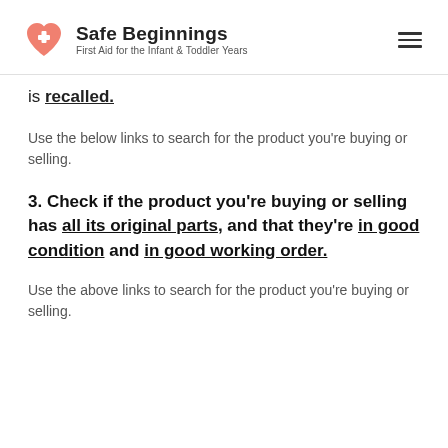Safe Beginnings — First Aid for the Infant & Toddler Years
is recalled.
Use the below links to search for the product you're buying or selling.
3. Check if the product you're buying or selling has all its original parts, and that they're in good condition and in good working order.
Use the above links to search for the product you're buying or selling.